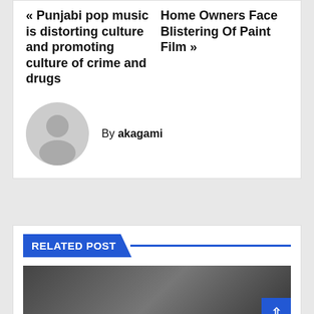« Punjabi pop music is distorting culture and promoting culture of crime and drugs
Home Owners Face Blistering Of Paint Film »
By akagami
RELATED POST
[Figure (photo): Thumbnail image of a person's face, partially visible, dark toned]